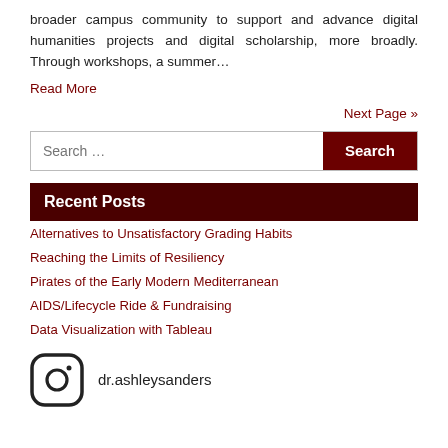broader campus community to support and advance digital humanities projects and digital scholarship, more broadly. Through workshops, a summer…
Read More
Next Page »
[Figure (other): Search bar with text input field and dark red Search button]
Recent Posts
Alternatives to Unsatisfactory Grading Habits
Reaching the Limits of Resiliency
Pirates of the Early Modern Mediterranean
AIDS/Lifecycle Ride & Fundraising
Data Visualization with Tableau
[Figure (logo): Instagram logo icon (rounded square camera icon) with handle dr.ashleysanders]